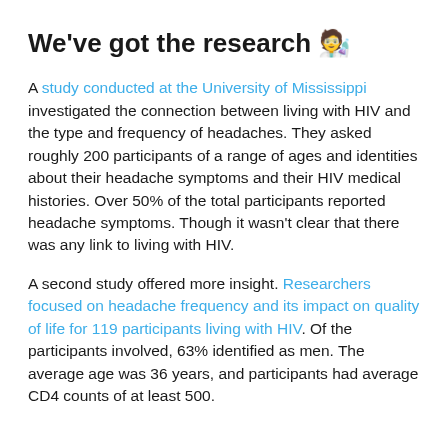We've got the research 🔬
A study conducted at the University of Mississippi investigated the connection between living with HIV and the type and frequency of headaches. They asked roughly 200 participants of a range of ages and identities about their headache symptoms and their HIV medical histories. Over 50% of the total participants reported headache symptoms. Though it wasn't clear that there was any link to living with HIV.
A second study offered more insight. Researchers focused on headache frequency and its impact on quality of life for 119 participants living with HIV. Of the participants involved, 63% identified as men. The average age was 36 years, and participants had average CD4 counts of at least 500.